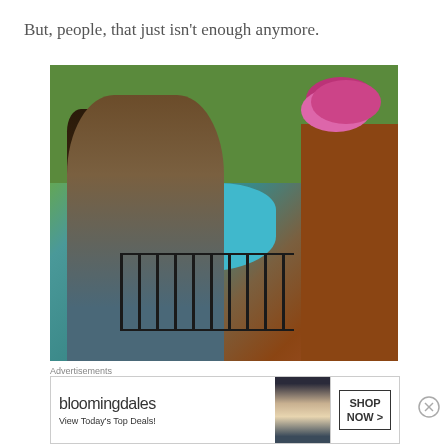But, people, that just isn't enough anymore.
[Figure (photo): A young woman with long dark brown hair, viewed from behind, sitting on brick steps next to an ornate black iron railing, overlooking a backyard swimming pool surrounded by green landscaping, brick columns, and flowering plants]
Advertisements
[Figure (other): Bloomingdales advertisement banner showing logo, model in hat, 'View Today's Top Deals!' text, and 'SHOP NOW >' button]